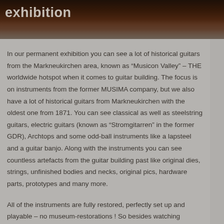exhibition
In our permanent exhibition you can see a lot of historical guitars from the Markneukirchen area, known as “Musicon Valley” – THE worldwide hotspot when it comes to guitar building. The focus is on instruments from the former MUSIMA company, but we also have a lot of historical guitars from Markneukirchen with the oldest one from 1871. You can see classical as well as steelstring guitars, electric guitars (known as “Stromgitarren” in the former GDR), Archtops and some odd-ball instruments like a lapsteel and a guitar banjo. Along with the instruments you can see countless artefacts from the guitar building past like original dies, strings, unfinished bodies and necks, original pics, hardware parts, prototypes and many more.
All of the instruments are fully restored, perfectly set up and playable – no museum-restorations ! So besides watching